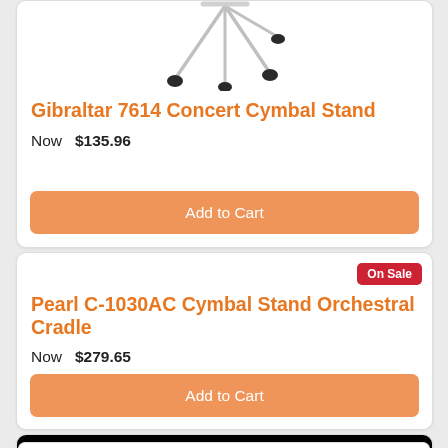[Figure (photo): Partial view of a cymbal stand product image at top of page]
Gibraltar 7614 Concert Cymbal Stand
Now  $135.96
Add to Cart
Pearl C-1030AC Cymbal Stand Orchestral Cradle
On Sale
Now  $279.65
Add to Cart
[Figure (photo): Partial product image on black background with On Sale badge]
On Sale